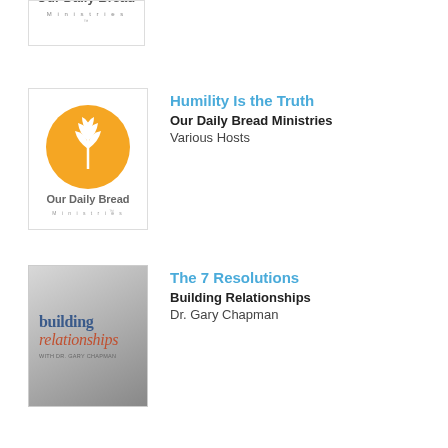[Figure (logo): Our Daily Bread Ministries logo - partially visible at top of page, cropped]
[Figure (logo): Our Daily Bread Ministries logo - orange circle with wheat/grain symbol, text 'Our Daily Bread Ministries' below]
Humility Is the Truth
Our Daily Bread Ministries
Various Hosts
[Figure (logo): Building Relationships with Dr. Gary Chapman podcast logo - gray gradient background with blue 'building' and red-brown italic 'relationships' text]
The 7 Resolutions
Building Relationships
Dr. Gary Chapman